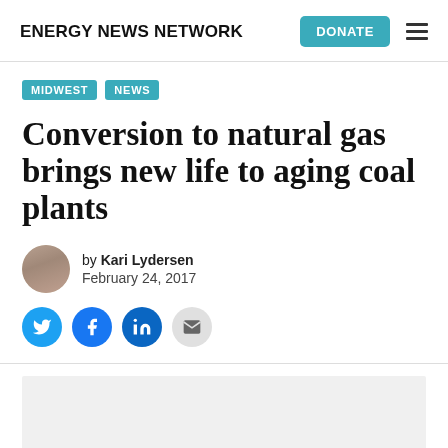ENERGY NEWS NETWORK
MIDWEST  NEWS
Conversion to natural gas brings new life to aging coal plants
by Kari Lydersen
February 24, 2017
[Figure (illustration): Social share icons: Twitter (blue circle), Facebook (blue circle), LinkedIn (dark blue circle), Email (gray circle)]
[Figure (photo): Article lead image placeholder (light gray box)]